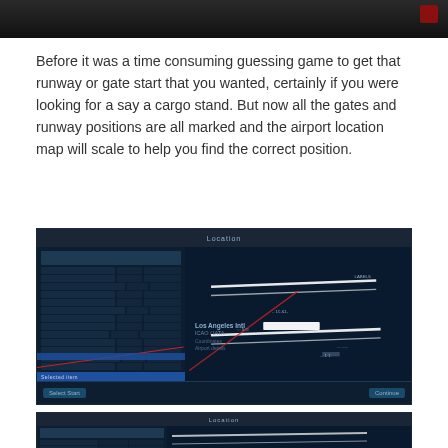[Figure (screenshot): Top portion of a dark-themed flight simulator screen capture, partially visible at top of page]
Before it was a time consuming guessing game to get that runway or gate start that you wanted, certainly if you were looking for a say a cargo stand. But now all the gates and runway positions are all marked and the airport location map will scale to help you find the correct position.
[Figure (screenshot): Screenshot of a flight simulator location selection screen showing a list panel on the left with gate/runway options and a dark airport map on the right showing Los Angeles International Airport with runways marked in white lines. Title says 'Location'. Bottom has STARTS section with a list.]
[Figure (screenshot): Bottom partial screenshot of another flight simulator location screen, showing the same type of interface with Location header, partially cut off at bottom of page.]